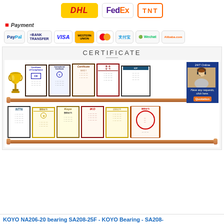[Figure (logo): Shipping carrier logos: DHL (yellow/red), FedEx (purple/orange), TNT (orange outlined)]
* Payment
[Figure (logo): Payment method logos: PayPal, Bank Transfer, VISA, Western Union, Mastercard, Alipay (支付宝), WeChat, Alibaba.com]
[Figure (photo): Certificate section showing two shelves with framed certificates/awards including a gold trophy, NTN certificate, Koyo certificate, IKO certificate, and various other certification documents. A customer service popup is visible on the right side with '24/7 Online' text, a woman with headset, and a 'Quotation' button.]
KOYO NA206-20 bearing SA208-25F - KOYO Bearing - SA208-